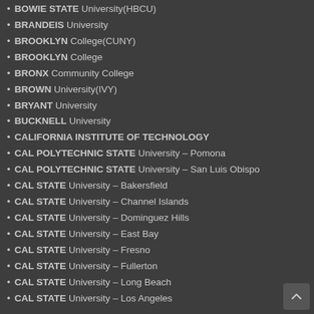BOWIE STATE University(HBCU)
BRANDEIS University
BROOKLYN College(CUNY)
BROOKLYN College
BRONX Community College
BROWN University(IVY)
BRYANT University
BUCKNELL University
CALIFORNIA INSTITUTE OF TECHNOLOGY
CAL POLYTECHNIC STATE University – Pomona
CAL POLYTECHNIC STATE University – San Luis Obispo
CAL STATE University – Bakersfield
CAL STATE University – Channel Islands
CAL STATE University – Dominguez Hills
CAL STATE University – East Bay
CAL STATE University – Fresno
CAL STATE University – Fullerton
CAL STATE University – Long Beach
CAL STATE University – Los Angeles